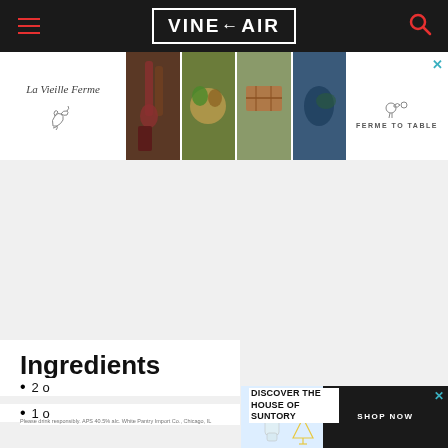VINEPAIR
[Figure (photo): La Vieille Ferme advertisement banner with farm photos and ferme to table branding]
Ingredients
2 o
1 o
[Figure (photo): Discover the House of Suntory advertisement with Shop Now button]